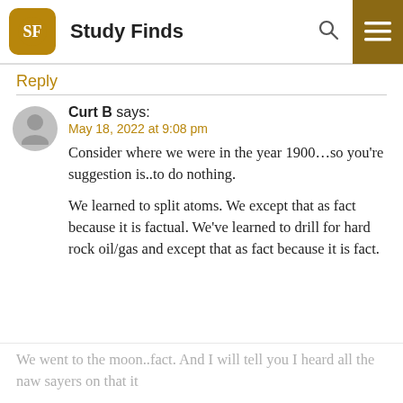Study Finds
Reply
Curt B says:
May 18, 2022 at 9:08 pm
Consider where we were in the year 1900...so you're suggestion is..to do nothing.

We learned to split atoms. We except that as fact because it is factual. We've learned to drill for hard rock oil/gas and except that as fact because it is fact.
We went to the moon..fact. And I will tell you I heard all the naw sayers on that it